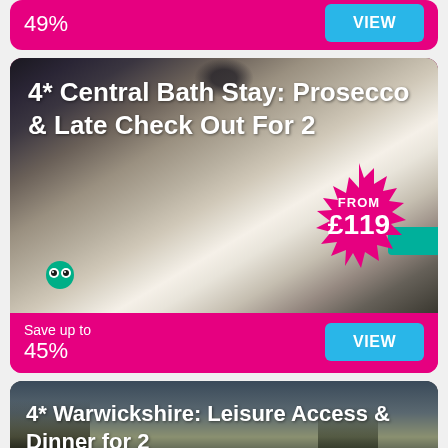49%
VIEW
[Figure (photo): Hotel room with padded headboard, white bedding, lamps, chandelier, and grey curtains]
4* Central Bath Stay: Prosecco & Late Check Out For 2
FROM £119
Save up to 45%
VIEW
[Figure (photo): Warwickshire outdoor scene with trees against sky]
4* Warwickshire: Leisure Access & Dinner for 2